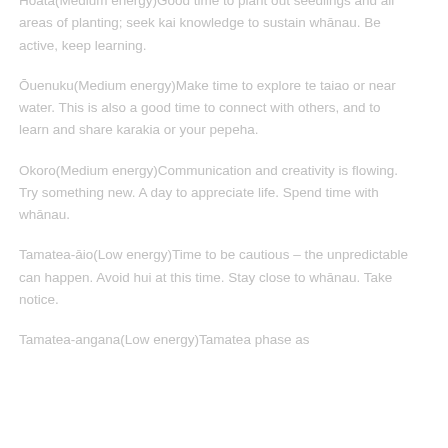Hoata(Medium energy)Good time to plant out seedlings and all areas of planting; seek kai knowledge to sustain whānau. Be active, keep learning.
Ōuenuku(Medium energy)Make time to explore te taiao or near water. This is also a good time to connect with others, and to learn and share karakia or your pepeha.
Okoro(Medium energy)Communication and creativity is flowing. Try something new. A day to appreciate life. Spend time with whānau.
Tamatea-āio(Low energy)Time to be cautious – the unpredictable can happen. Avoid hui at this time. Stay close to whānau. Take notice.
Tamatea-angana(Low energy)Tamatea phase as…